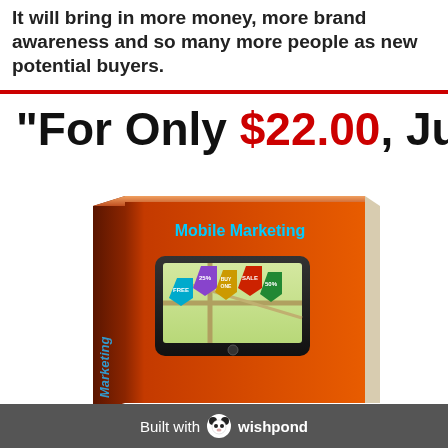It will bring in more money, more brand awareness and so many more people as new potential buyers.
"For Only $22.00, Just Imagin...
[Figure (illustration): A 3D book cover for 'Mobile Marketing' showing an orange hardcover book with a smartphone on the cover displaying a map with colorful sale/promotion tags labeled FREE, 25%, BUY ONE, SALE, 50%]
Built with wishpond